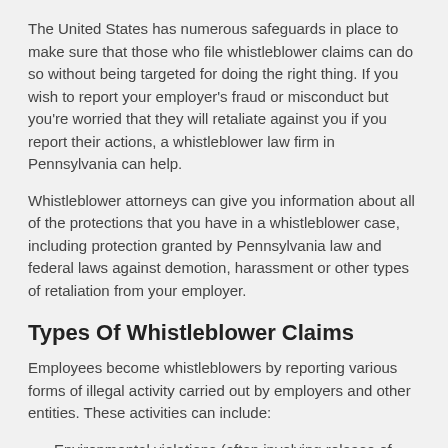The United States has numerous safeguards in place to make sure that those who file whistleblower claims can do so without being targeted for doing the right thing. If you wish to report your employer's fraud or misconduct but you're worried that they will retaliate against you if you report their actions, a whistleblower law firm in Pennsylvania can help.
Whistleblower attorneys can give you information about all of the protections that you have in a whistleblower case, including protection granted by Pennsylvania law and federal laws against demotion, harassment or other types of retaliation from your employer.
Types Of Whistleblower Claims
Employees become whistleblowers by reporting various forms of illegal activity carried out by employers and other entities. These activities can include:
Environmental violations (often involving release of toxic substances into the air or water)
Kickbacks and bribes
Fraudulent billing or accounting fraud
Tax fraud
Securities fraud (SEC whistleblower cases)